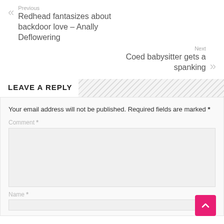Previous
Redhead fantasizes about backdoor love – Anally Deflowering
Next
Coed babysitter gets a spanking
LEAVE A REPLY
Your email address will not be published. Required fields are marked *
Comment *
Name *